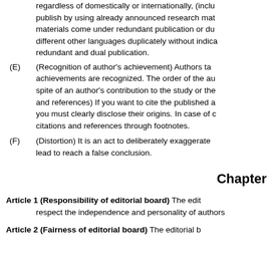regardless of domestically or internationally, (including publish by using already announced research materials come under redundant publication or duplicately in different other languages duplicately without indications are redundant and dual publication.
(E)  (Recognition of author's achievement) Authors take achievements are recognized. The order of the authors spite of an author's contribution to the study or the and references) If you want to cite the published articles you must clearly disclose their origins. In case of citations and references through footnotes.
(F)  (Distortion) It is an act to deliberately exaggerate lead to reach a false conclusion.
Chapter
Article 1 (Responsibility of editorial board) The editorial board shall respect the independence and personality of authors.
Article 2 (Fairness of editorial board) The editorial board